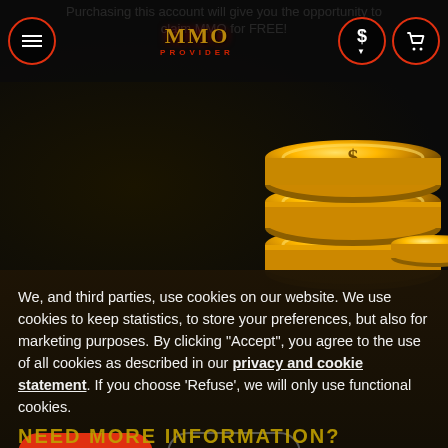MMO Provider — navigation header with menu, logo, currency, and cart buttons
Purchasing this account will give you the opportunity to claim MMO for FREE!
[Figure (photo): Stack of large golden coins with dollar sign embossed, on dark background]
We, and third parties, use cookies on our website. We use cookies to keep statistics, to store your preferences, but also for marketing purposes. By clicking "Accept", you agree to the use of all cookies as described in our privacy and cookie statement. If you choose "Refuse", we will only use functional cookies.
ACCEPT
REFUSE
NEED MORE INFORMATION?